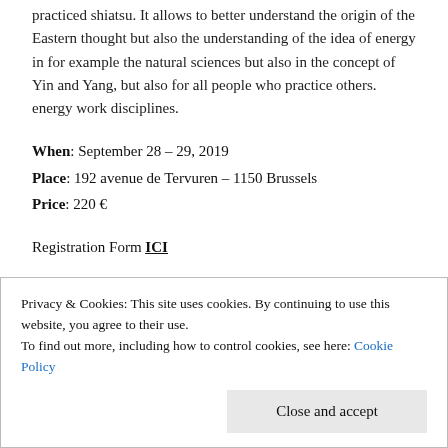practiced shiatsu. It allows to better understand the origin of the Eastern thought but also the understanding of the idea of energy in for example the natural sciences but also in the concept of Yin and Yang, but also for all people who practice others. energy work disciplines.
When: September 28 – 29, 2019
Place: 192 avenue de Tervuren – 1150 Brussels
Price: 220 €
Registration Form ICI
Privacy & Cookies: This site uses cookies. By continuing to use this website, you agree to their use.
To find out more, including how to control cookies, see here: Cookie Policy